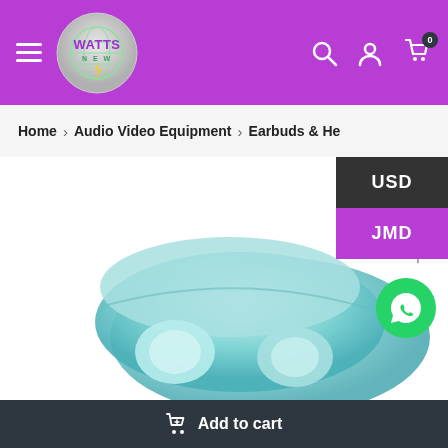[Figure (screenshot): E-commerce website header with purple background, hamburger menu, WattsNew logo, search icon, user icon, and cart icon with badge showing 0]
Home > Audio Video Equipment > Earbuds & He...
USD
JMD
[Figure (photo): Teal/mint colored earbuds/headphones product image]
Add to cart